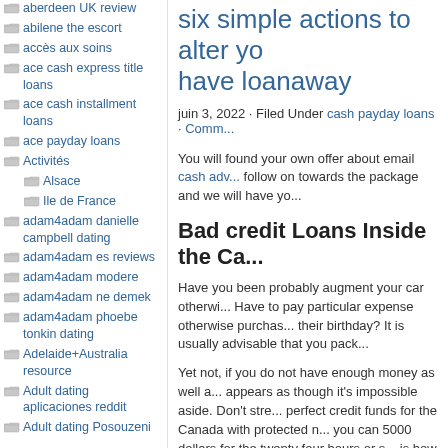aberdeen UK review
abilene the escort
accès aux soins
ace cash express title loans
ace cash installment loans
ace payday loans
Activités
Alsace
Ile de France
adam4adam danielle campbell dating
adam4adam es reviews
adam4adam modere
adam4adam ne demek
adam4adam phoebe tonkin dating
Adelaide+Australia resource
Adult dating aplicaciones reddit
Adult dating Posouzeni
six simple actions to alter yo... have loanaway
juin 3, 2022 · Filed Under cash payday loans · Comm...
You will found your own offer about email cash adv... follow on towards the package and we will have yo...
Bad credit Loans Inside the Ca...
Have you been probably augment your car otherwi... Have to pay particular expense otherwise purchas... their birthday? It is usually advisable that you pack...
Yet not, if you do not have enough money as well a... appears as though it's impossible aside. Don't stre... perfect credit funds for the Canada with protected n... you can 5000 dollars for the twenty four hours or s... is how to use within the six moments otherwise les...
Personal Loanswithin twenty minutes: Unse...
Funds With Easier installmentplans close m...
Minimal wait time for you get approved: Ins...